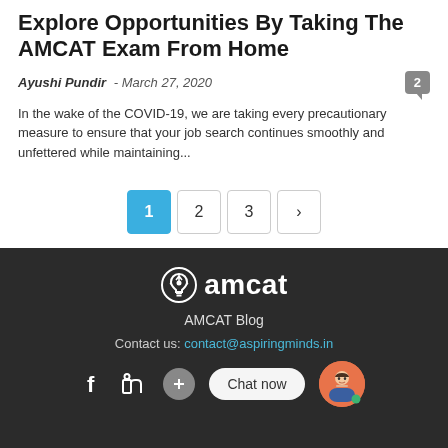Explore Opportunities By Taking The AMCAT Exam From Home
Ayushi Pundir · March 27, 2020
In the wake of the COVID-19, we are taking every precautionary measure to ensure that your job search continues smoothly and unfettered while maintaining...
[Figure (other): Pagination controls showing pages 1, 2, 3 and a next arrow button. Page 1 is highlighted in blue.]
[Figure (logo): AMCAT logo with lightbulb icon and text 'amcat' in white on dark background]
AMCAT Blog
Contact us: contact@aspiringminds.in
[Figure (other): Social media icons for Facebook, LinkedIn, Twitter, a chat now bubble, and a cartoon avatar]